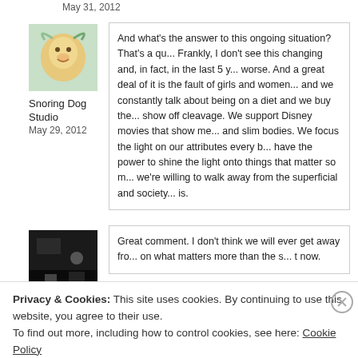May 31, 2012
[Figure (illustration): Colorful illustrated avatar of a dog or character in watercolor style]
Snoring Dog Studio
May 29, 2012
And what's the answer to this ongoing situation? That's a qu... Frankly, I don't see this changing and, in fact, in the last 5 y... worse. And a great deal of it is the fault of girls and women... and we constantly talk about being on a diet and we buy the... show off cleavage. We support Disney movies that show me... and slim bodies. We focus the light on our attributes every b... have the power to shine the light onto things that matter so m... we're willing to walk away from the superficial and society... is.
[Figure (photo): Dark/night photo used as avatar]
Great comment. I don't think we will ever get away fro... on what matters more than the s... t now.
Privacy & Cookies: This site uses cookies. By continuing to use this website, you agree to their use.
To find out more, including how to control cookies, see here: Cookie Policy
Close and accept